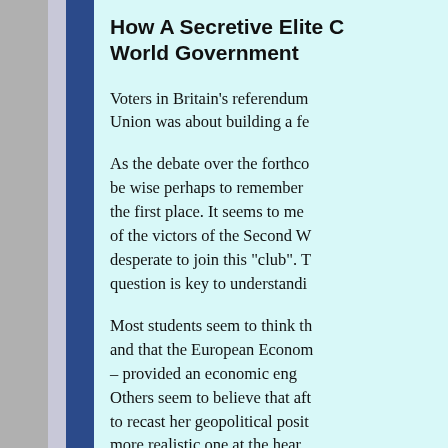How A Secretive Elite Created The European World Government
Voters in Britain's referendum on whether to leave the European Union was about building a federal superstate.
As the debate over the forthcoming referendum intensifies, it would be wise perhaps to remember how and why the EU was created in the first place. It seems to me that most people, including many of the victors of the Second World War, were not exactly desperate to join this "club". The answer to this question is key to understanding the real nature of the EU.
Most students seem to think that it was an economic project and that the European Economic Community – as it was known – provided an economic engine for post-war reconstruction. Others seem to believe that after the war, Britain was seeking to recast her geopolitical position and replace the old one with a more realistic one at the heart of Europe.